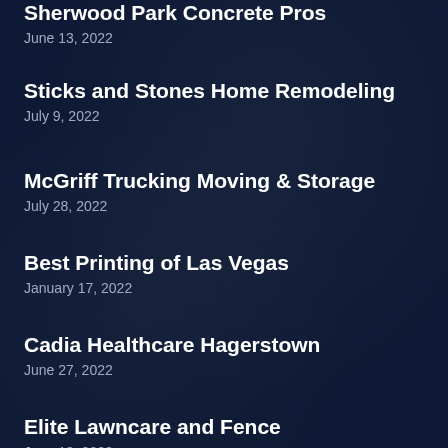Sherwood Park Concrete Pros
June 13, 2022
Sticks and Stones Home Remodeling
July 9, 2022
McGriff Trucking Moving & Storage
July 28, 2022
Best Printing of Las Vegas
January 17, 2022
Cadia Healthcare Hagerstown
June 27, 2022
Elite Lawncare and Fence
June 13, 2022